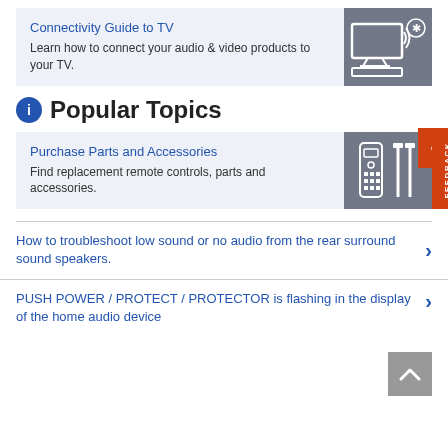[Figure (illustration): Card with link 'Connectivity Guide to TV' and description 'Learn how to connect your audio & video products to your TV.' with a grey image area showing TV, soundbar, and Bluetooth icon]
Popular Topics
[Figure (illustration): Card with link 'Purchase Parts and Accessories' and description 'Find replacement remote controls, parts and accessories.' with a grey image area showing remote control and cable icons. Red feedback tab on right side.]
How to troubleshoot low sound or no audio from the rear surround sound speakers.
PUSH POWER / PROTECT / PROTECTOR is flashing in the display of the home audio device